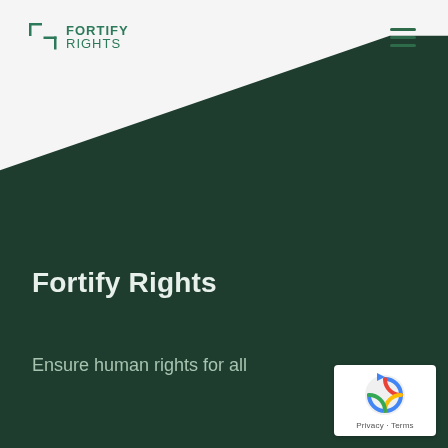[Figure (logo): Fortify Rights logo with bracket-F icon and text FORTIFY RIGHTS in green]
Fortify Rights
Ensure human rights for all
[Figure (other): reCAPTCHA badge with Privacy and Terms links]